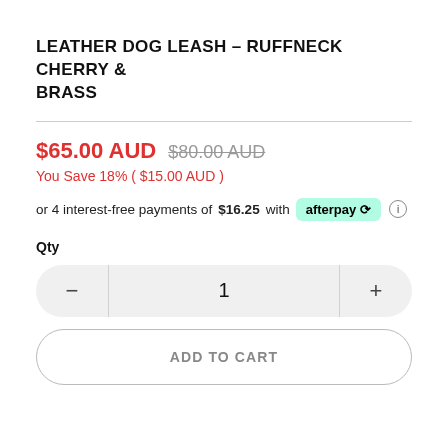LEATHER DOG LEASH – RUFFNECK CHERRY & BRASS
$65.00 AUD  $80.00 AUD
You Save 18% ( $15.00 AUD )
or 4 interest-free payments of $16.25 with afterpay
Qty
1
ADD TO CART